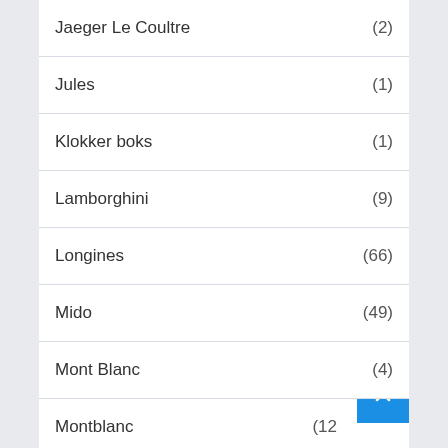Jaeger Le Coultre (2)
Jules (1)
Klokker boks (1)
Lamborghini (9)
Longines (66)
Mido (49)
Mont Blanc (4)
Montblanc (12…)